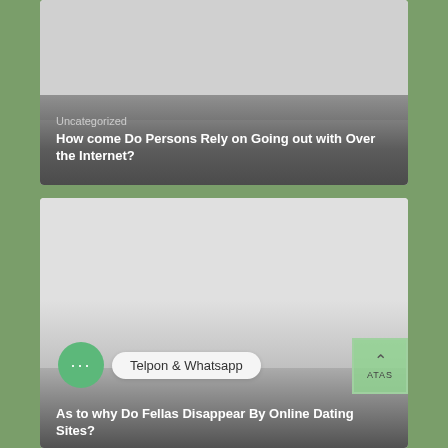[Figure (screenshot): Screenshot of a blog/website listing page with two article cards on a green leafy background. First card shows category 'Uncategorized' and title 'How come Do Persons Rely on Going out with Over the Internet?'. Second card partially visible with title 'As to why Do Fellas Disappear By Online Dating Sites?'. A green chat bubble icon with 'Telpon & Whatsapp' text and a green 'ATAS' scroll-to-top button are overlaid.]